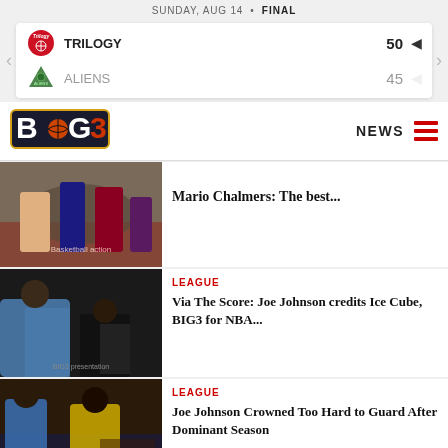SUNDAY, AUG 14 • FINAL
| Team | Score |
| --- | --- |
| TRILOGY | 50 |
| ALIENS | 45 |
[Figure (logo): BIG3 basketball league logo]
NEWS
[Figure (photo): Basketball players scrambling for ball on court]
Mario Chalmers: The best...
[Figure (photo): Basketball player receiving trophy or item from person with mask]
LEAGUE
Via The Score: Joe Johnson credits Ice Cube, BIG3 for NBA...
[Figure (photo): Basketball players competing during game, yellow and blue uniforms]
LEAGUE
Joe Johnson Crowned Too Hard to Guard After Dominant Season
[Figure (photo): Basketball photo partially visible at bottom]
LEAGUE